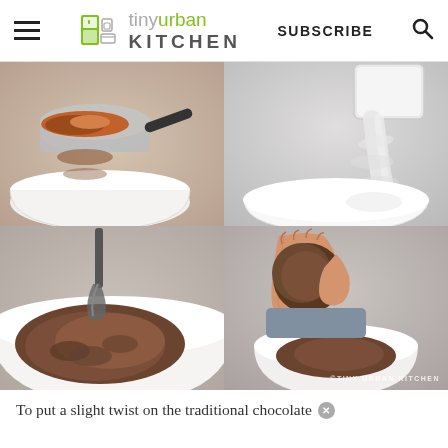tiny urban KITCHEN — SUBSCRIBE
[Figure (photo): Four-panel grid of cooking process photos: top-left shows cocoa powder in a sieve over a white bowl, top-right shows sugar/flour being sifted into a white bowl, bottom-left shows chocolate mixture being mixed in a white bowl, bottom-right shows hands forming a chocolate dough ball over a white bowl with a watermark reading TINY URBAN KITCHEN.]
To put a slight twist on the traditional chocolate